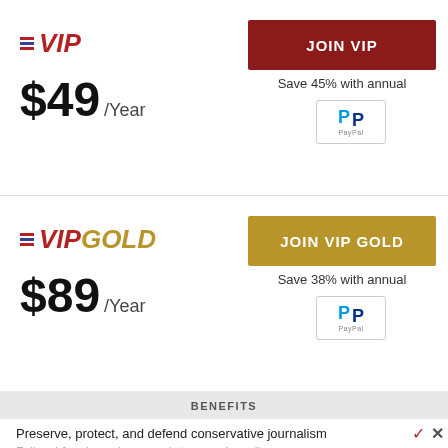VIP — $49/Year
JOIN VIP
Save 45% with annual
VIP GOLD — $89/Year
JOIN VIP GOLD
Save 38% with annual
BENEFITS
Preserve, protect, and defend conservative journalism
Fully ad-free browsing, newsletters, and email